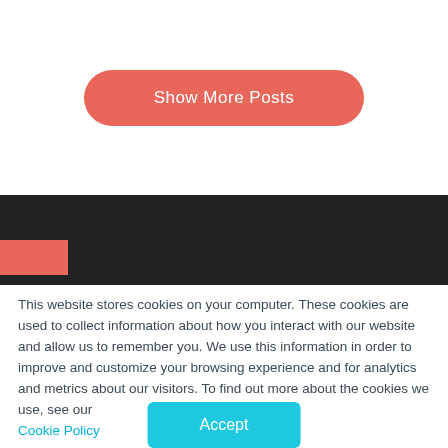[Figure (other): A rounded coral/salmon-colored button labeled 'Show More Posts' on a white background]
[Figure (other): Dark black navigation bar with a partially visible coral red block element in the lower left]
This website stores cookies on your computer. These cookies are used to collect information about how you interact with our website and allow us to remember you. We use this information in order to improve and customize your browsing experience and for analytics and metrics about our visitors. To find out more about the cookies we use, see our Cookie Policy
[Figure (other): A cyan/teal rounded rectangle button labeled 'Accept']